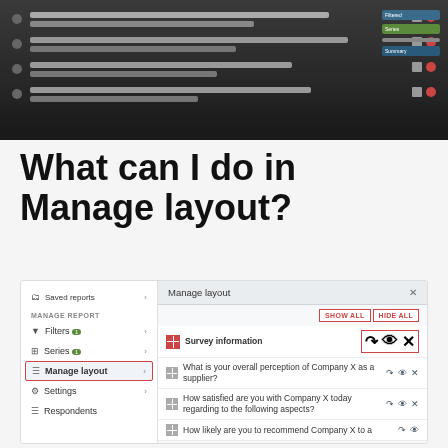[Figure (screenshot): A dark-themed software UI screenshot showing survey rows with icons and a right-side panel with colored tags]
What can I do in Manage layout?
[Figure (screenshot): UI mockup showing left sidebar with Saved reports, Manage Report (Filters, Series, Manage layout highlighted, Settings, Respondents) and right panel showing Manage layout with SHOW ALL / HIDE ALL buttons and rows: Survey information, What is your overall perception of Company X as a supplier?, How satisfied are you with Company X today regarding to the following aspects?, How likely are you to recommend Company X to a...]